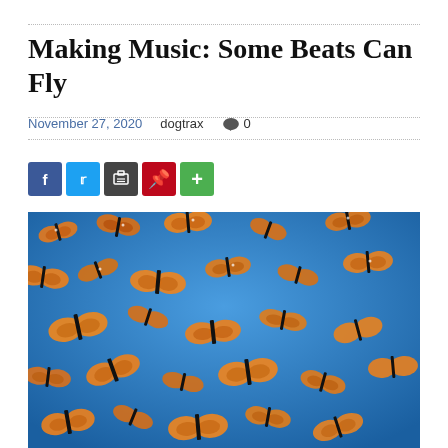Making Music: Some Beats Can Fly
November 27, 2020    dogtrax    0
[Figure (other): Social sharing buttons: Facebook (blue), Twitter (light blue), Print (dark grey), Pinterest (red), More (green)]
[Figure (photo): A large swarm of monarch butterflies with orange and black wings flying against a bright blue sky.]